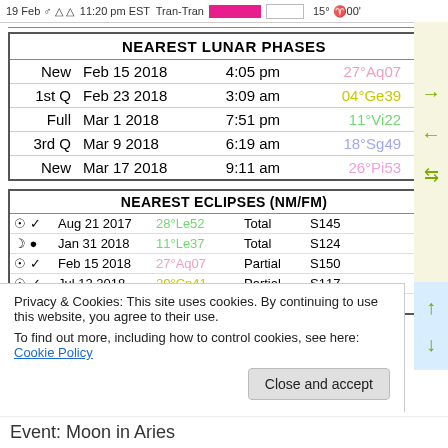19 Feb ♂ △ △  11:20 pm EST  Tran-Tran  [pink bar] [white bar]  15°♈00'
| NEAREST LUNAR PHASES |
| --- |
| New | Feb 15 2018 | 4:05 pm | 27°Aq07 | ● |
| 1st Q | Feb 23 2018 | 3:09 am | 04°Ge39 |  |
| Full | Mar 1 2018 | 7:51 pm | 11°Vi22 |  |
| 3rd Q | Mar 9 2018 | 6:19 am | 18°Sg49 |  |
| New | Mar 17 2018 | 9:11 am | 26°Pi53 |  |
| NEAREST ECLIPSES (NM/FM) |
| --- |
| ☉ ✓ | Aug 21 2017 | 28°Le52 | Total | S145 |
| ☽ ● | Jan 31 2018 | 11°Le37 | Total | S124 |
| ☉ ✓ | Feb 15 2018 | 27°Aq07 | Partial | S150 |
| ☉ ✓ | Jul 12 2018 | 20°Cn41 | Partial | S117 |
| ☽ ● | Jul 27 2018 | 04°Aq44 | Total | S129 |
Privacy & Cookies: This site uses cookies. By continuing to use this website, you agree to their use. To find out more, including how to control cookies, see here: Cookie Policy
Close and accept
Event: Moon in Aries